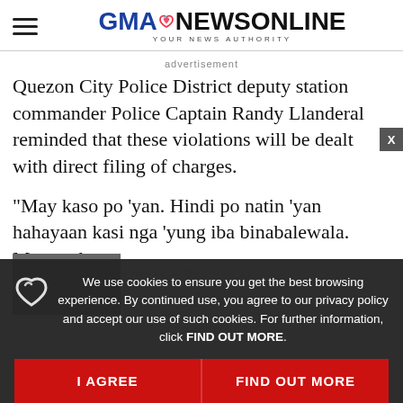GMA NEWS ONLINE — YOUR NEWS AUTHORITY
advertisement
Quezon City Police District deputy station commander Police Captain Randy Llanderal reminded that these violations will be dealt with direct filing of charges.
"May kaso po 'yan. Hindi po natin 'yan hahayaan kasi nga 'yung iba binabalewala. Magugulat pa lang si
We use cookies to ensure you get the best browsing experience. By continued use, you agree to our privacy policy and accept our use of such cookies. For further information, click FIND OUT MORE.
I AGREE
FIND OUT MORE